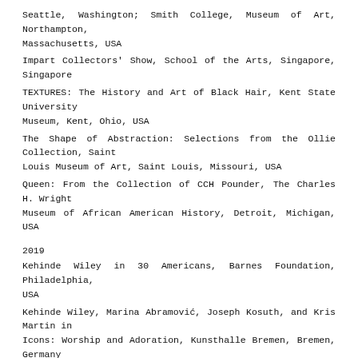Seattle, Washington; Smith College, Museum of Art, Northampton, Massachusetts, USA
Impart Collectors' Show, School of the Arts, Singapore, Singapore
TEXTURES: The History and Art of Black Hair, Kent State University Museum, Kent, Ohio, USA
The Shape of Abstraction: Selections from the Ollie Collection, Saint Louis Museum of Art, Saint Louis, Missouri, USA
Queen: From the Collection of CCH Pounder, The Charles H. Wright Museum of African American History, Detroit, Michigan, USA
2019
Kehinde Wiley in 30 Americans, Barnes Foundation, Philadelphia, USA
Kehinde Wiley, Marina Abramović, Joseph Kosuth, and Kris Martin in Icons: Worship and Adoration, Kunsthalle Bremen, Bremen, Germany
Dawoud Bey and Kehinde Wiley in Afrocosmologies: American Reflections, Wadsworth Atheneum, Hartford, USA
Street Dreams: how hip hop took over fashion, Kunsthal, Rotterdam,